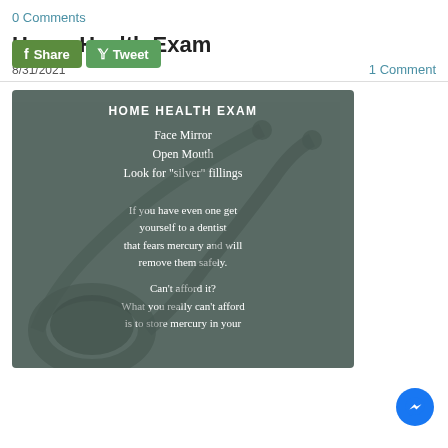0 Comments
Home Health Exam
8/31/2021
1 Comment
[Figure (infographic): Dark grey-green infographic with stethoscope background. Title: HOME HEALTH EXAM. Steps: Face Mirror / Open Mouth / Look for "silver" fillings. Body: If you have even one get yourself to a dentist that fears mercury and will remove them safely. Can't afford it? What you really can't afford is to store mercury in your [body/mouth].]